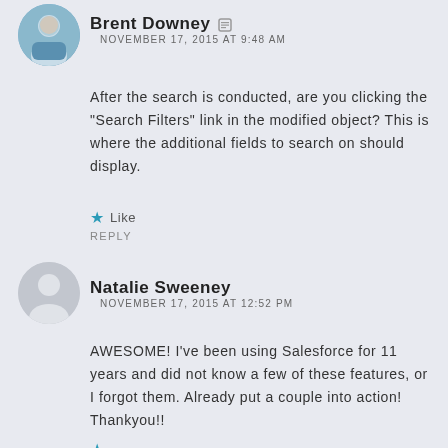[Figure (photo): Avatar photo of Brent Downey, a man in a blue shirt]
Brent Downey   NOVEMBER 17, 2015 AT 9:48 AM
After the search is conducted, are you clicking the "Search Filters" link in the modified object? This is where the additional fields to search on should display.
Like
REPLY
[Figure (illustration): Generic grey avatar silhouette for Natalie Sweeney]
Natalie Sweeney   NOVEMBER 17, 2015 AT 12:52 PM
AWESOME! I've been using Salesforce for 11 years and did not know a few of these features, or I forgot them. Already put a couple into action! Thankyou!!